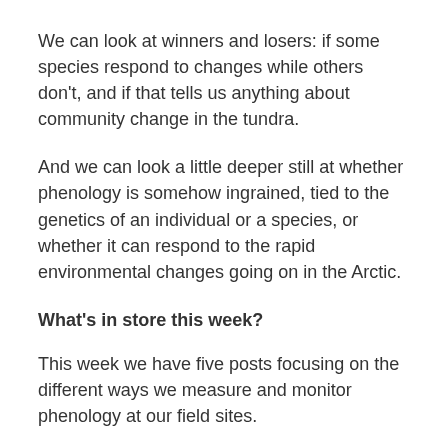We can look at winners and losers: if some species respond to changes while others don't, and if that tells us anything about community change in the tundra.
And we can look a little deeper still at whether phenology is somehow ingrained, tied to the genetics of an individual or a species, or whether it can respond to the rapid environmental changes going on in the Arctic.
What's in store this week?
This week we have five posts focusing on the different ways we measure and monitor phenology at our field sites.
On Monday Haydn will look at the ways we can